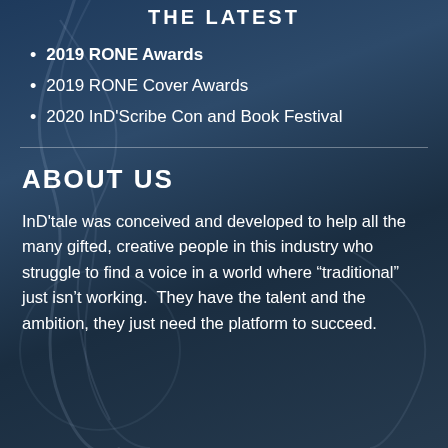THE LATEST
2019 RONE Awards
2019 RONE Cover Awards
2020 InD'Scribe Con and Book Festival
ABOUT US
InD'tale was conceived and developed to help all the many gifted, creative people in this industry who struggle to find a voice in a world where “traditional” just isn’t working.  They have the talent and the ambition, they just need the platform to succeed.